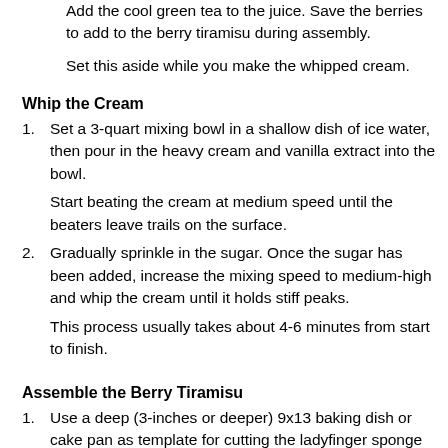Add the cool green tea to the juice. Save the berries to add to the berry tiramisu during assembly.
Set this aside while you make the whipped cream.
Whip the Cream
Set a 3-quart mixing bowl in a shallow dish of ice water, then pour in the heavy cream and vanilla extract into the bowl.
Start beating the cream at medium speed until the beaters leave trails on the surface.
Gradually sprinkle in the sugar. Once the sugar has been added, increase the mixing speed to medium-high and whip the cream until it holds stiff peaks.
This process usually takes about 4-6 minutes from start to finish.
Assemble the Berry Tiramisu
Use a deep (3-inches or deeper) 9x13 baking dish or cake pan as template for cutting the ladyfinger sponge cake into two sheets that will fit into the baking dish.
Snuggle one of the sponge sheets into the bottom of the baking dish. Pour half of the berry mascarpone over the